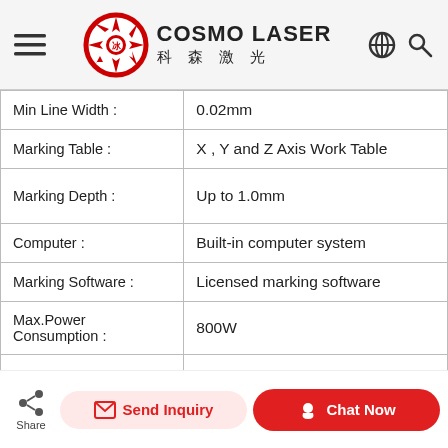COSMO LASER 科森激光
| Property | Value |
| --- | --- |
| Min Line Width : | 0.02mm |
| Marking Table : | X , Y and Z Axis Work Table |
| Marking Depth : | Up to 1.0mm |
| Computer : | Built-in computer system |
| Marking Software : | Licensed marking software |
| Max.Power Consumption : | 800W |
| Power Supply : | 220V / 1P (Standard)
110V / 1P (Optional) |
| Machine |  |
Share | Send Inquiry | Chat Now